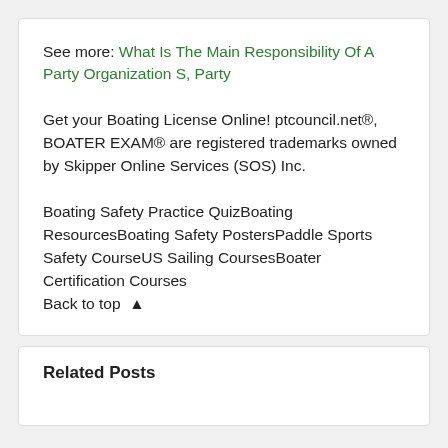See more: What Is The Main Responsibility Of A Party Organization S, Party
Get your Boating License Online! ptcouncil.net®, BOATER EXAM® are registered trademarks owned by Skipper Online Services (SOS) Inc.
Boating Safety Practice QuizBoating ResourcesBoating Safety PostersPaddle Sports Safety CourseUS Sailing CoursesBoater Certification Courses
Back to top ▲
Related Posts